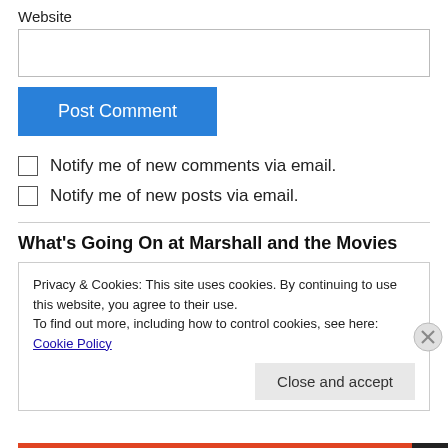Website
Post Comment
Notify me of new comments via email.
Notify me of new posts via email.
What's Going On at Marshall and the Movies
Privacy & Cookies: This site uses cookies. By continuing to use this website, you agree to their use. To find out more, including how to control cookies, see here: Cookie Policy
Close and accept